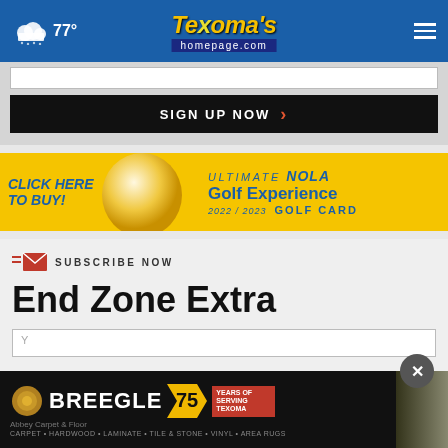77° Texoma's homepage.com
SIGN UP NOW
[Figure (infographic): Yellow advertisement banner: CLICK HERE TO BUY! ULTIMATE NOLA Golf Experience 2022/2023 GOLF CARD]
SUBSCRIBE NOW
End Zone Extra
[Figure (infographic): Breegle Abbey Carpet & Floor 75 Years of Service Terror advertisement. CARPET • HARDWOOD • LAMINATE • TILE & STONE • VINYL • AREA RUGS]